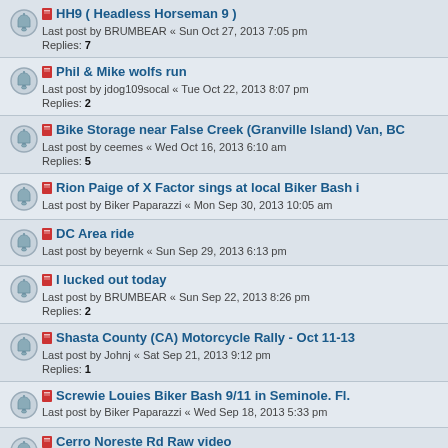HH9 ( Headless Horseman 9 ) - Last post by BRUMBEAR « Sun Oct 27, 2013 7:05 pm - Replies: 7
Phil & Mike wolfs run - Last post by jdog109socal « Tue Oct 22, 2013 8:07 pm - Replies: 2
Bike Storage near False Creek (Granville Island) Van, BC - Last post by ceemes « Wed Oct 16, 2013 6:10 am - Replies: 5
Rion Paige of X Factor sings at local Biker Bash i - Last post by Biker Paparazzi « Mon Sep 30, 2013 10:05 am
DC Area ride - Last post by beyernk « Sun Sep 29, 2013 6:13 pm
I lucked out today - Last post by BRUMBEAR « Sun Sep 22, 2013 8:26 pm - Replies: 2
Shasta County (CA) Motorcycle Rally - Oct 11-13 - Last post by Johnj « Sat Sep 21, 2013 9:12 pm - Replies: 1
Screwie Louies Biker Bash 9/11 in Seminole. Fl. - Last post by Biker Paparazzi « Wed Sep 18, 2013 5:33 pm
Cerro Noreste Rd Raw video - Last post by jdog109socal « Sat Sep 14, 2013 6:52 pm
The 5th Annual Catskill Ramble!!!! - Last post by zoeyku « Fri Sep 13, 2013 3:13 am - Replies: 20 - Pages: 1 2